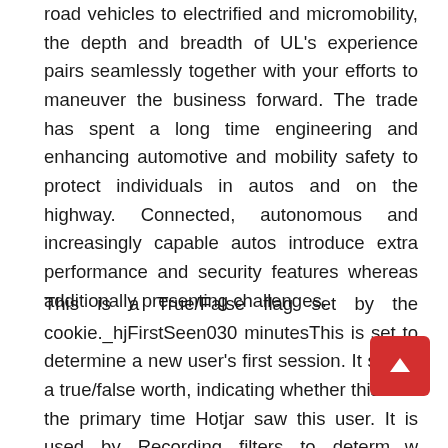road vehicles to electrified and micromobility, the depth and breadth of UL's experience pairs seamlessly together with your efforts to maneuver the business forward. The trade has spent a long time engineering and enhancing automotive and mobility safety to protect individuals in autos and on the highway. Connected, autonomous and increasingly capable autos introduce extra performance and security features whereas additionally presenting challenges.
This is a True/False flag set by the cookie._hjFirstSeen030 minutesThis is set to determine a new user's first session. It stores a true/false worth, indicating whether this was the primary time Hotjar saw this user. It is used by Recording filters to determine new person sessions._hjid11 yearThis cookie is ready by Hotjar. This cookie is ready when the shopper first lands